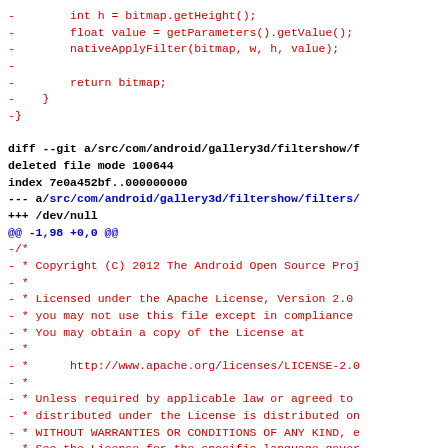Code diff showing deleted file from Android gallery3d filtershow filters